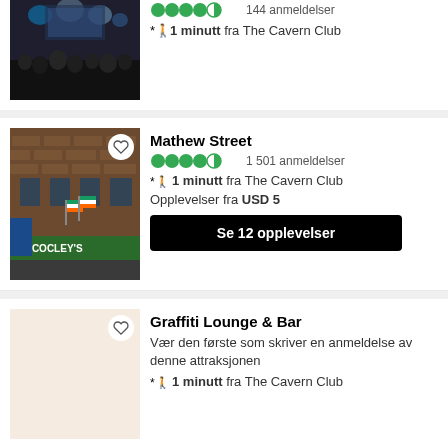[Figure (photo): Concert crowd with stage lighting in dark venue]
144 anmeldelser
1 minutt fra The Cavern Club
Mathew Street
1 501 anmeldelser
1 minutt fra The Cavern Club
Opplevelser fra USD 5
Se 12 opplevelser
[Figure (photo): Mathew Street with McCooley's bar, brick buildings and Irish flags]
Graffiti Lounge & Bar
Vær den første som skriver en anmeldelse av denne attraksjonen
1 minutt fra The Cavern Club
[Figure (photo): Beige/empty placeholder image for Graffiti Lounge & Bar]